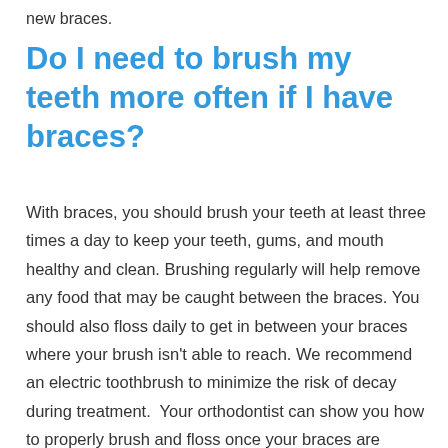new braces.
Do I need to brush my teeth more often if I have braces?
With braces, you should brush your teeth at least three times a day to keep your teeth, gums, and mouth healthy and clean. Brushing regularly will help remove any food that may be caught between the braces. You should also floss daily to get in between your braces where your brush isn't able to reach. We recommend an electric toothbrush to minimize the risk of decay during treatment. Your orthodontist can show you how to properly brush and floss once your braces are placed.